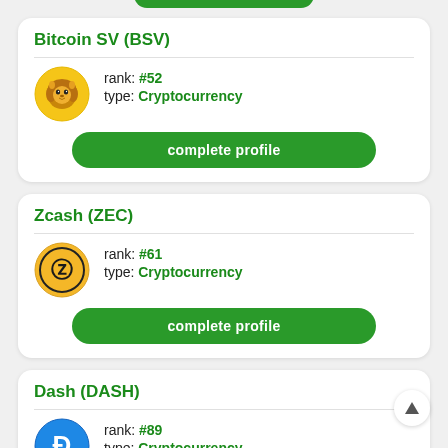Bitcoin SV (BSV)
rank: #52
type: Cryptocurrency
complete profile
Zcash (ZEC)
rank: #61
type: Cryptocurrency
complete profile
Dash (DASH)
rank: #89
type: Cryptocurrency
complete profile